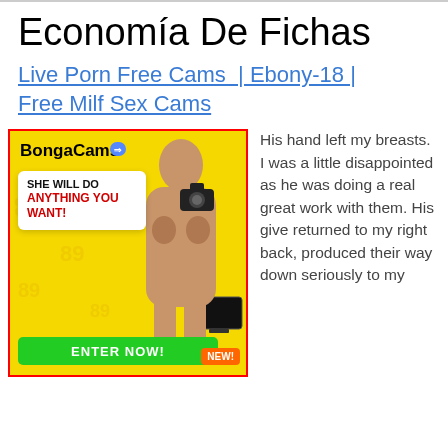Economía De Fichas
Live Porn Free Cams  | Ebony-18 | Free Milf Sex Cams
[Figure (illustration): BongaCams advertisement banner with yellow background, red border, image of woman, speech bubble saying 'SHE WILL DO ANYTHING YOU WANT!', green ENTER NOW button, and NEW! badge.]
His hand left my breasts. I was a little disappointed as he was doing a real great work with them. His give returned to my right back, produced their way down seriously to my